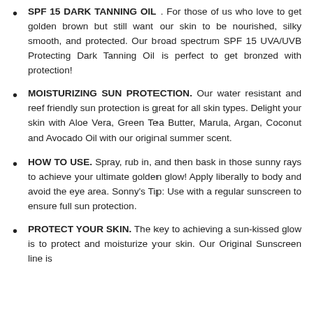SPF 15 DARK TANNING OIL . For those of us who love to get golden brown but still want our skin to be nourished, silky smooth, and protected. Our broad spectrum SPF 15 UVA/UVB Protecting Dark Tanning Oil is perfect to get bronzed with protection!
MOISTURIZING SUN PROTECTION. Our water resistant and reef friendly sun protection is great for all skin types. Delight your skin with Aloe Vera, Green Tea Butter, Marula, Argan, Coconut and Avocado Oil with our original summer scent.
HOW TO USE. Spray, rub in, and then bask in those sunny rays to achieve your ultimate golden glow! Apply liberally to body and avoid the eye area. Sonny's Tip: Use with a regular sunscreen to ensure full sun protection.
PROTECT YOUR SKIN. The key to achieving a sun-kissed glow is to protect and moisturize your skin. Our Original Sunscreen line is